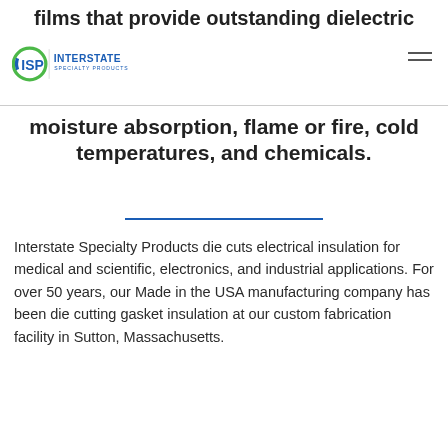films that provide outstanding dielectric
[Figure (logo): ISP Interstate Specialty Products logo with green arc and blue text]
moisture absorption, flame or fire, cold temperatures, and chemicals.
Interstate Specialty Products die cuts electrical insulation for medical and scientific, electronics, and industrial applications. For over 50 years, our Made in the USA manufacturing company has been die cutting gasket insulation at our custom fabrication facility in Sutton, Massachusetts.